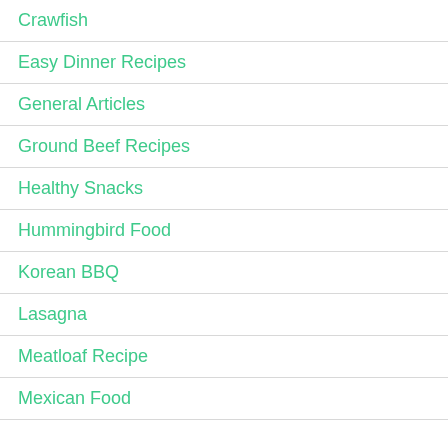Crawfish
Easy Dinner Recipes
General Articles
Ground Beef Recipes
Healthy Snacks
Hummingbird Food
Korean BBQ
Lasagna
Meatloaf Recipe
Mexican Food
About Us
H...